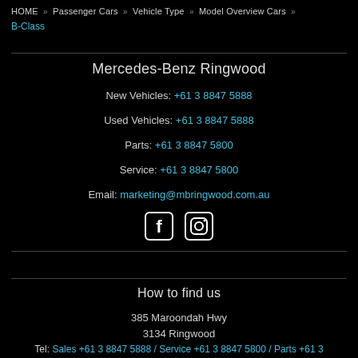HOME » Passenger Cars » Vehicle Type » Model Overview Cars » B-Class
Mercedes-Benz Ringwood
New Vehicles: +61 3 8847 5888
Used Vehicles: +61 3 8847 5888
Parts: +61 3 8847 5800
Service: +61 3 8847 5800
Email: marketing@mbringwood.com.au
[Figure (other): Social media icons: Facebook and Instagram]
How to find us
385 Maroondah Hwy
3134 Ringwood
Tel: Sales +61 3 8847 5888 / Service +61 3 8847 5800 / Parts +61 3